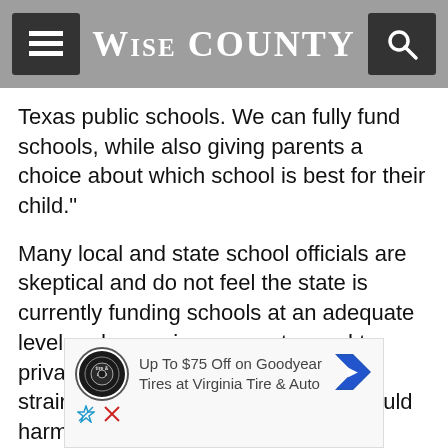Wise County
Texas public schools. We can fully fund schools, while also giving parents a choice about which school is best for their child."
Many local and state school officials are skeptical and do not feel the state is currently funding schools at an adequate level and removing money to send to private schools would create a further strain. Some school officials said it could harm the most vulnerable students.
[Figure (other): Advertisement: Up To $75 Off on Goodyear Tires at Virginia Tire & Auto, with Goodyear logo and navigation arrow icon]